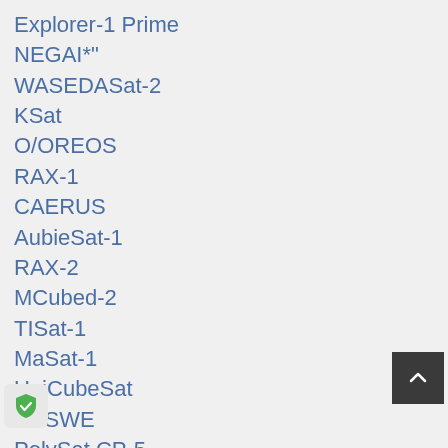Explorer-1 Prime
NEGAI*"
WASEDASat-2
KSat
O/OREOS
RAX-1
CAERUS
AubieSat-1
RAX-2
MCubed-2
TISat-1
MaSat-1
UniCubeSat
CSSWE
PolySat CP-5
AENEAS
F1
e-Wish
CXBN